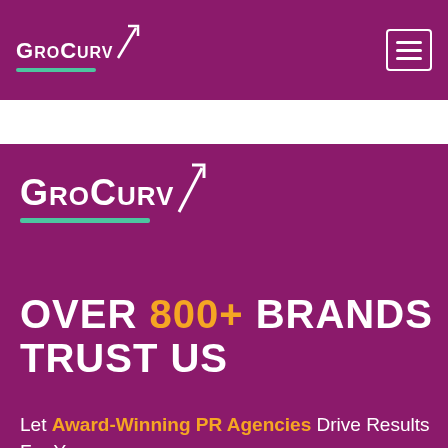GroCurv [logo with arrow] — hamburger menu
GroCurv is selec
[Figure (logo): GroCurv logo — bold white uppercase text with upward arrow, teal underline, on purple background]
OVER 800+ BRANDS TRUST US
Let Award-Winning PR Agencies Drive Results For You.
100% Vetted & Verified